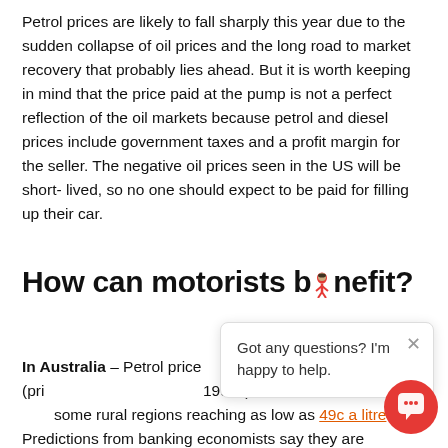Petrol prices are likely to fall sharply this year due to the sudden collapse of oil prices and the long road to market recovery that probably lies ahead. But it is worth keeping in mind that the price paid at the pump is not a perfect reflection of the oil markets because petrol and diesel prices include government taxes and a profit margin for the seller. The negative oil prices seen in the US will be short-lived, so no one should expect to be paid for filling up their car.
How can motorists benefit?
In Australia – Petrol prices could reach 75 cents a litre (prices not seen since the 1990s). We have seen a fall with some rural regions reaching as low as 49c a litre. Predictions from banking economists say they are expecting capital city pump prices to slide by another per cent by the end of June, which would see Brisbane
[Figure (screenshot): Chat popup overlay with mascot icon and message: 'Got any questions? I'm happy to help.' with an X close button. A red circular chat button icon is in the bottom right.]